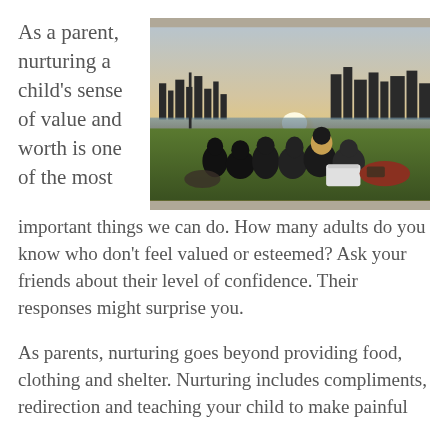As a parent, nurturing a child's sense of value and worth is one of the most important things we can do. How many adults do you know who don't feel valued or esteemed? Ask your friends about their level of confidence. Their responses might surprise you.
[Figure (photo): Group of people sitting on grass in a park with a city skyline silhouetted against a bright sunset in the background.]
As parents, nurturing goes beyond providing food, clothing and shelter. Nurturing includes compliments, redirection and teaching your child to make painful